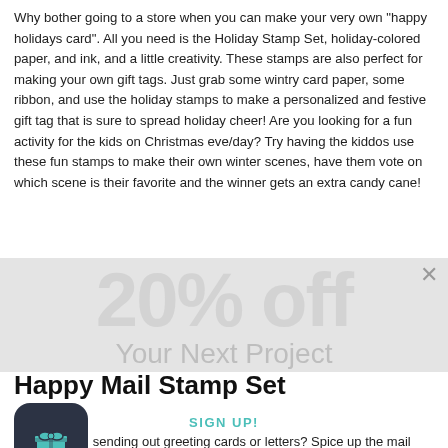Why bother going to a store when you can make your very own "happy holidays card". All you need is the Holiday Stamp Set, holiday-colored paper, and ink, and a little creativity. These stamps are also perfect for making your own gift tags. Just grab some wintry card paper, some ribbon, and use the holiday stamps to make a personalized and festive gift tag that is sure to spread holiday cheer! Are you looking for a fun activity for the kids on Christmas eve/day? Try having the kiddos use these fun stamps to make their own winter scenes, have them vote on which scene is their favorite and the winner gets an extra candy cane!
[Figure (screenshot): Promotional overlay showing '20% off Your Next Project' with a teal 'Holiday Stamp Set' button, email input field, and a close X button]
Happy Mail Stamp Set
[Figure (logo): Dark rounded square app icon with a teal gift/present icon]
SIGN UP!
Lo... ail Mail! sending out greeting cards or letters? Spice up the mail with this delightful Happy Mail Stamp Set. Nothing makes me smile more tha...